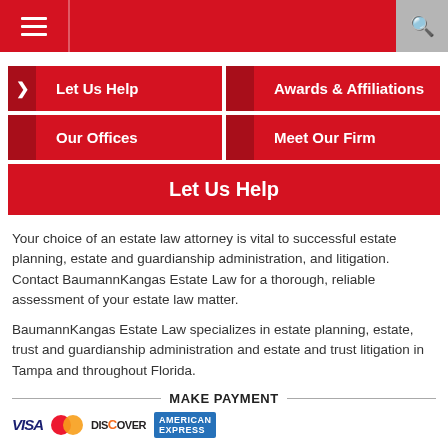Navigation bar with hamburger menu and search icon
Let Us Help
Awards & Affiliations
Our Offices
Meet Our Firm
Let Us Help
Your choice of an estate law attorney is vital to successful estate planning, estate and guardianship administration, and litigation. Contact BaumannKangas Estate Law for a thorough, reliable assessment of your estate law matter.
BaumannKangas Estate Law specializes in estate planning, estate, trust and guardianship administration and estate and trust litigation in Tampa and throughout Florida.
MAKE PAYMENT
[Figure (logo): Payment card logos: VISA, Mastercard, Discover, American Express]